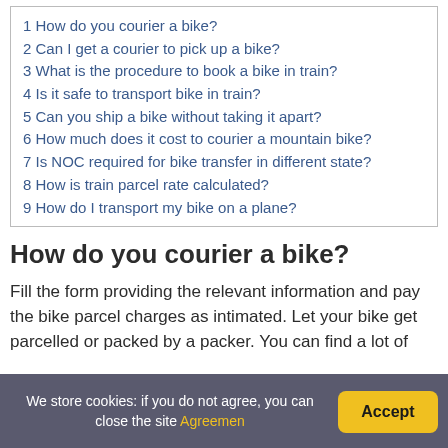1 How do you courier a bike?
2 Can I get a courier to pick up a bike?
3 What is the procedure to book a bike in train?
4 Is it safe to transport bike in train?
5 Can you ship a bike without taking it apart?
6 How much does it cost to courier a mountain bike?
7 Is NOC required for bike transfer in different state?
8 How is train parcel rate calculated?
9 How do I transport my bike on a plane?
How do you courier a bike?
Fill the form providing the relevant information and pay the bike parcel charges as intimated. Let your bike get parcelled or packed by a packer. You can find a lot of
We store cookies: if you do not agree, you can close the site Agreement